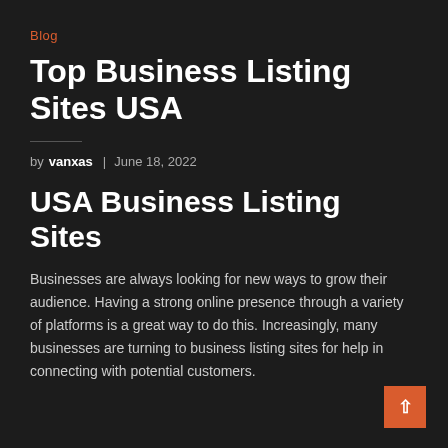Blog
Top Business Listing Sites USA
by vanxas | June 18, 2022
USA Business Listing Sites
Businesses are always looking for new ways to grow their audience. Having a strong online presence through a variety of platforms is a great way to do this. Increasingly, many businesses are turning to business listing sites for help in connecting with potential customers.